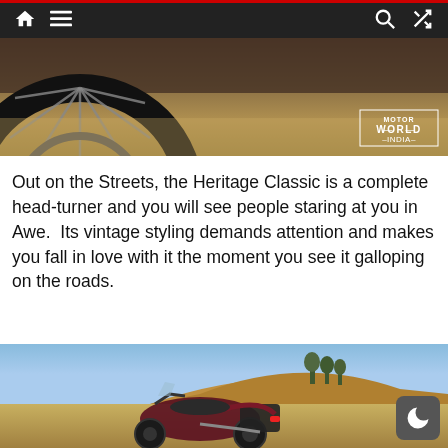Navigation bar with home, menu, search, and shuffle icons
[Figure (photo): Close-up photo of a motorcycle wheel/tire with spokes, with Motor World India watermark in bottom right corner]
Out on the Streets, the Heritage Classic is a complete head-turner and you will see people staring at you in Awe.  Its vintage styling demands attention and makes you fall in love with it the moment you see it galloping on the roads.
[Figure (photo): Harley-Davidson Heritage Classic motorcycle in dark red/maroon color parked on a dirt road with a rocky hill and blue sky in the background. A dark mode moon button is visible in the bottom right corner.]